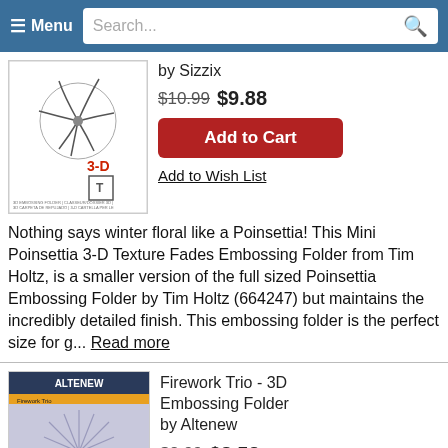≡ Menu  Search...
[Figure (illustration): Product image of Mini Poinsettia 3-D Texture Fades Embossing Folder showing poinsettia sketch and 3-D label]
by Sizzix
$10.99 $9.88
Add to Cart
Add to Wish List
Nothing says winter floral like a Poinsettia! This Mini Poinsettia 3-D Texture Fades Embossing Folder from Tim Holtz, is a smaller version of the full sized Poinsettia Embossing Folder by Tim Holtz (664247) but maintains the incredibly detailed finish. This embossing folder is the perfect size for g... Read more
[Figure (illustration): Product image of Firework Trio 3D Embossing Folder by Altenew showing firework burst pattern on dark background]
Firework Trio - 3D Embossing Folder by Altenew
$8.99 $8.53
Add to Cart
Top